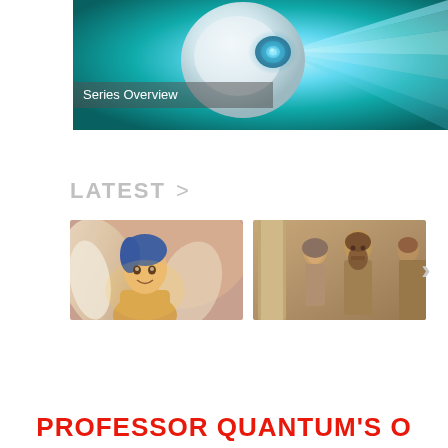[Figure (illustration): 3D animated white egg-shaped device emitting blue glowing light beams on a teal/cyan background with text overlay 'Series Overview']
LATEST  >
[Figure (photo): 3D animated angel character — young boy with wings, smiling, warm orange/golden lighting]
[Figure (photo): 3D animated stone-like figures of people — biblical style characters, brown/tan tones]
PROFESSOR QUANTUM'S O